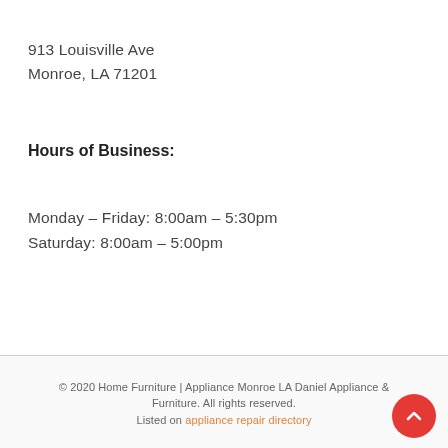913 Louisville Ave
Monroe, LA 71201
Hours of Business:
Monday – Friday: 8:00am – 5:30pm
Saturday: 8:00am – 5:00pm
© 2020 Home Furniture | Appliance Monroe LA Daniel Appliance & Furniture. All rights reserved.
Listed on appliance repair directory